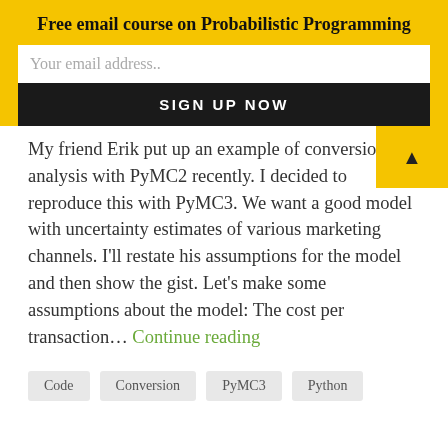Free email course on Probabilistic Programming
Your email address..
SIGN UP NOW
My friend Erik put up an example of conversion analysis with PyMC2 recently. I decided to reproduce this with PyMC3. We want a good model with uncertainty estimates of various marketing channels. I'll restate his assumptions for the model and then show the gist. Let's make some assumptions about the model: The cost per transaction… Continue reading
Code
Conversion
PyMC3
Python